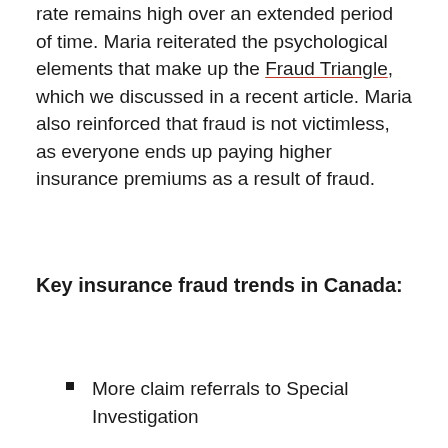rate remains high over an extended period of time. Maria reiterated the psychological elements that make up the Fraud Triangle, which we discussed in a recent article. Maria also reinforced that fraud is not victimless, as everyone ends up paying higher insurance premiums as a result of fraud.
Key insurance fraud trends in Canada:
More claim referrals to Special Investigation